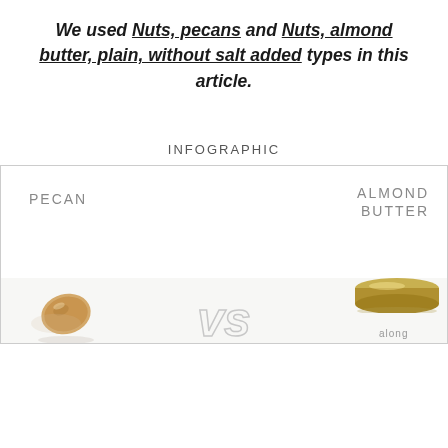We used Nuts, pecans and Nuts, almond butter, plain, without salt added types in this article.
INFOGRAPHIC
[Figure (infographic): Infographic comparing PECAN vs ALMOND BUTTER, showing labels for each side with photos of a pecan nut and almond butter jar lid at the bottom, with a 'VS' text in between.]